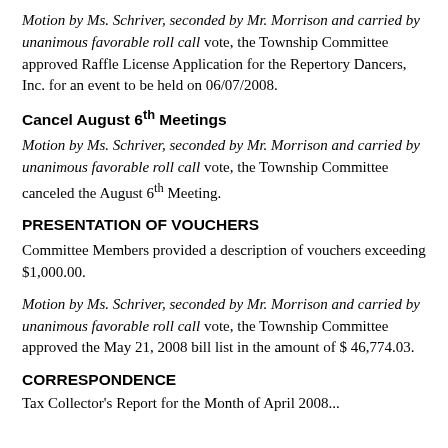Motion by Ms. Schriver, seconded by Mr. Morrison and carried by unanimous favorable roll call vote, the Township Committee approved Raffle License Application for the Repertory Dancers, Inc. for an event to be held on 06/07/2008.
Cancel August 6th Meetings
Motion by Ms. Schriver, seconded by Mr. Morrison and carried by unanimous favorable roll call vote, the Township Committee canceled the August 6th Meeting.
PRESENTATION OF VOUCHERS
Committee Members provided a description of vouchers exceeding $1,000.00.
Motion by Ms. Schriver, seconded by Mr. Morrison and carried by unanimous favorable roll call vote, the Township Committee approved the May 21, 2008 bill list in the amount of $ 46,774.03.
CORRESPONDENCE
Tax Collector's Report for the Month of April 2008...